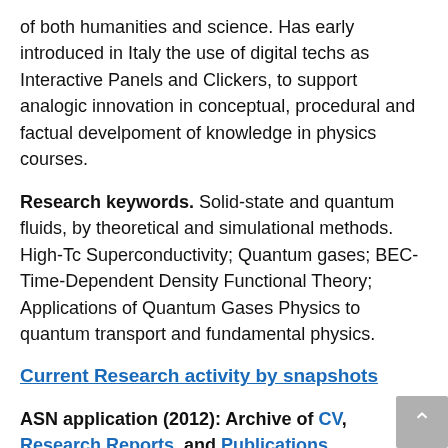of both humanities and science. Has early introduced in Italy the use of digital techs as Interactive Panels and Clickers, to support analogic innovation in conceptual, procedural and factual develpoment of knowledge in physics courses.
Research keywords. Solid-state and quantum fluids, by theoretical and simulational methods. High-Tc Superconductivity; Quantum gases; BEC- Time-Dependent Density Functional Theory; Applications of Quantum Gases Physics to quantum transport and fundamental physics.
Current Research activity by snapshots
ASN application (2012): Archive of CV, Research Reports, and Publications
International collaborations. IRC (Cambridge, UK), ICTP (Trieste, Italy), ACP (Aspen, US), ECT e BEC-CRS (Trento, Italy), Democritos (Trieste, Italy), KITP (Santa